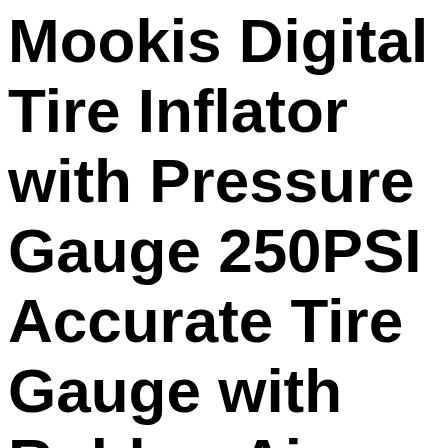Mookis Digital Tire Inflator with Pressure Gauge 250PSI Accurate Tire Gauge with Rubber Air Chuck Hose and